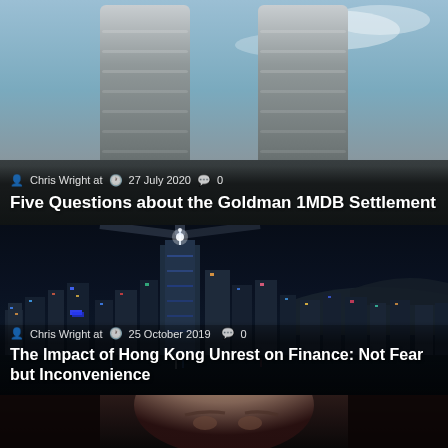[Figure (photo): Aerial/close-up view of the Petronas Twin Towers in Kuala Lumpur against a blue sky with clouds, forming the background of the first article card]
Chris Wright at  27 July 2020  0
Five Questions about the Goldman 1MDB Settlement
[Figure (photo): Night cityscape of Hong Kong skyline with illuminated skyscrapers and city lights reflected, forming the background of the second article card]
Chris Wright at  25 October 2019  0
The Impact of Hong Kong Unrest on Finance: Not Fear but Inconvenience
[Figure (photo): Close-up partial portrait of a person's face (eyes and forehead visible) against a dark background, forming the background of the third article card]